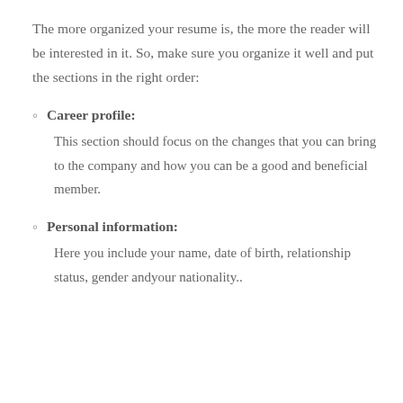The more organized your resume is, the more the reader will be interested in it. So, make sure you organize it well and put the sections in the right order:
Career profile: This section should focus on the changes that you can bring to the company and how you can be a good and beneficial member.
Personal information: Here you include your name, date of birth, relationship status, gender andyour nationality..